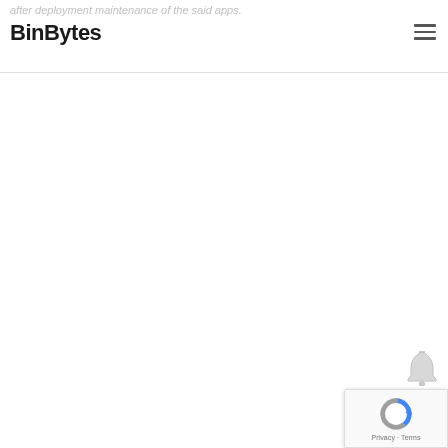after deployment maintenance of the said apps.
BinBytes
[Figure (screenshot): reCAPTCHA badge widget in bottom-right corner with reCAPTCHA logo and 'Privacy · Terms' text]